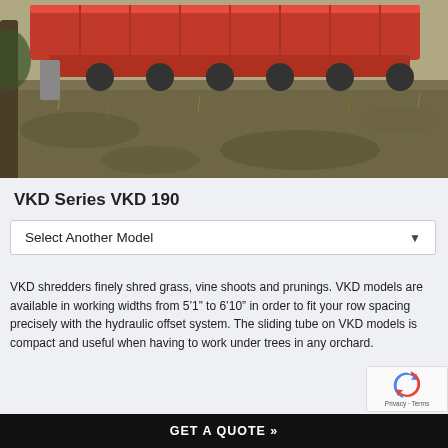[Figure (photo): Agricultural VKD shredder machine (red) on field/orchard terrain, photographed outdoors]
VKD Series VKD 190
Select Another Model
VKD shredders finely shred grass, vine shoots and prunings. VKD models are available in working widths from 5’1” to 6’10” in order to fit your row spacing precisely with the hydraulic offset system. The sliding tube on VKD models is compact and useful when having to work under trees in any orchard.
GET A QUOTE »